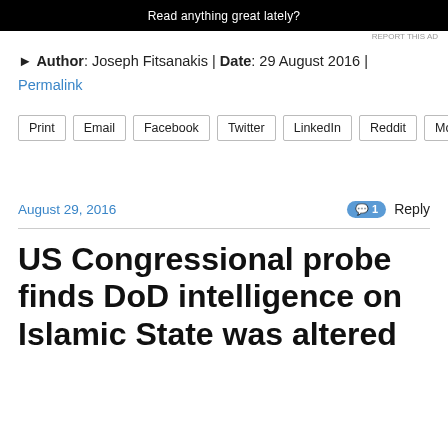[Figure (other): Dark banner advertisement with text 'Read anything great lately?']
REPORT THIS AD
► Author: Joseph Fitsanakis | Date: 29 August 2016 | Permalink
Print
Email
Facebook
Twitter
LinkedIn
Reddit
More
August 29, 2016
1 Reply
US Congressional probe finds DoD intelligence on Islamic State was altered